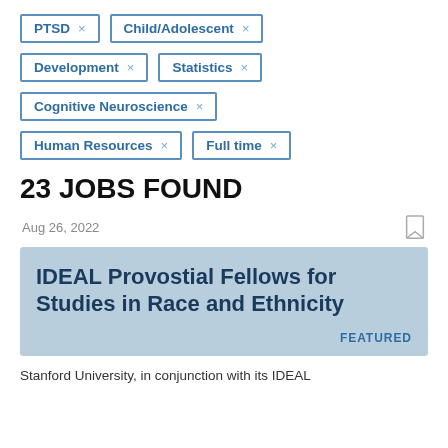PTSD ×
Child/Adolescent ×
Development ×
Statistics ×
Cognitive Neuroscience ×
Human Resources ×
Full time ×
23 JOBS FOUND
Aug 26, 2022
IDEAL Provostial Fellows for Studies in Race and Ethnicity
FEATURED
Stanford University, in conjunction with its IDEAL